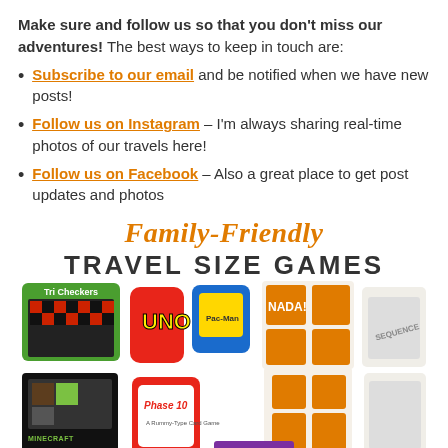Make sure and follow us so that you don't miss our adventures! The best ways to keep in touch are:
Subscribe to our email and be notified when we have new posts!
Follow us on Instagram – I'm always sharing real-time photos of our travels here!
Follow us on Facebook – Also a great place to get post updates and photos
[Figure (illustration): Family-Friendly Travel Size Games banner with script orange text and bold dark block text, followed by a collage of travel-size board games including Checkers, UNO, Pacman, NADA!, Sequence, Minecraft card game, Phase 10, and others.]